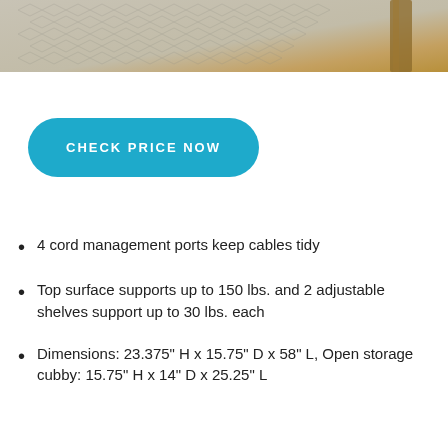[Figure (photo): Top portion of a photo showing a woven rug texture in beige/grey tones with a wooden furniture leg visible at upper right]
CHECK PRICE NOW
4 cord management ports keep cables tidy
Top surface supports up to 150 lbs. and 2 adjustable shelves support up to 30 lbs. each
Dimensions: 23.375" H x 15.75" D x 58" L, Open storage cubby: 15.75" H x 14" D x 25.25" L